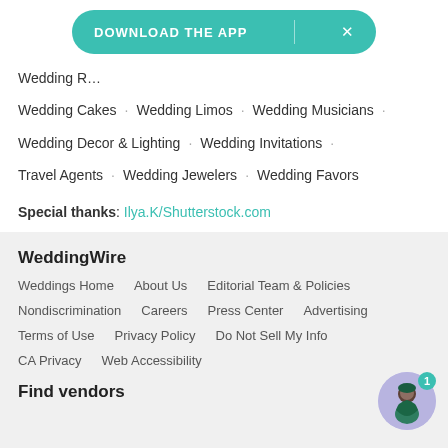[Figure (screenshot): Teal 'DOWNLOAD THE APP' banner with X close button overlaying navigation links]
Wedding Cakes · Wedding Limos · Wedding Musicians ·
Wedding Decor & Lighting · Wedding Invitations ·
Travel Agents · Wedding Jewelers · Wedding Favors
Special thanks: Ilya.K/Shutterstock.com
WeddingWire
Weddings Home    About Us    Editorial Team & Policies
Nondiscrimination    Careers    Press Center    Advertising
Terms of Use    Privacy Policy    Do Not Sell My Info
CA Privacy    Web Accessibility
Find vendors